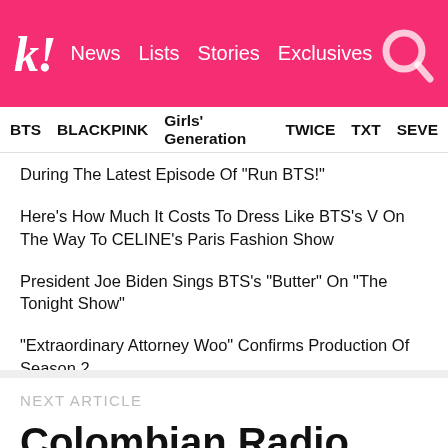koreaboo | News | Lists | Stories | Exclusives
BTS | BLACKPINK | Girls' Generation | TWICE | TXT | SEVE
During The Latest Episode Of "Run BTS!"
Here's How Much It Costs To Dress Like BTS's V On The Way To CELINE's Paris Fashion Show
President Joe Biden Sings BTS's "Butter" On "The Tonight Show"
"Extraordinary Attorney Woo" Confirms Production Of Season 2
WINNER's Kang Seungyoon Spotted With Rumored Girlfriend, YG Entertainment Actress Moon Ji Hyo
NEXT ARTICLE
Colombian Radio Show “La